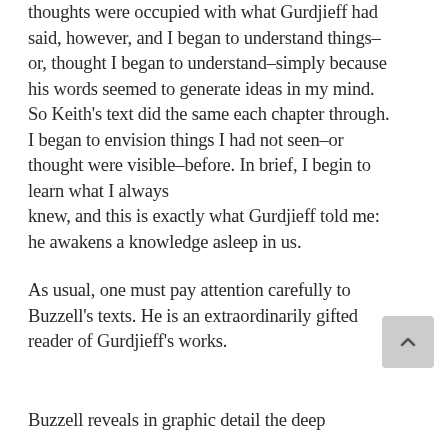thoughts were occupied with what Gurdjieff had said, however, and I began to understand things–or, thought I began to understand–simply because his words seemed to generate ideas in my mind. So Keith's text did the same each chapter through. I began to envision things I had not seen–or thought were visible–before. In brief, I begin to learn what I always knew, and this is exactly what Gurdjieff told me: he awakens a knowledge asleep in us.
As usual, one must pay attention carefully to Buzzell's texts. He is an extraordinarily gifted reader of Gurdjieff's works.
Buzzell reveals in graphic detail the deep